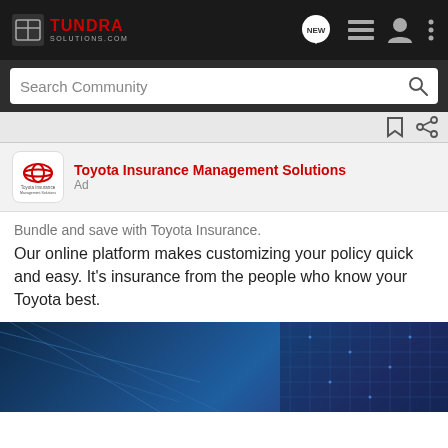[Figure (screenshot): TundraSolutions.com navigation bar with logo, NEW chat bubble, list icon, user icon, and more options icon on dark background]
[Figure (screenshot): Search Community search bar on dark gray background with magnifying glass icon]
[Figure (screenshot): Bookmark and share icons on light gray divider bar]
Toyota Insurance Management Solutions
Ad
Bundle and save with Toyota Insurance.
Our online platform makes customizing your policy quick and easy. It’s insurance from the people who know your Toyota best.
[Figure (photo): Blue-toned abstract technology/cityscape image with digital grid overlay]